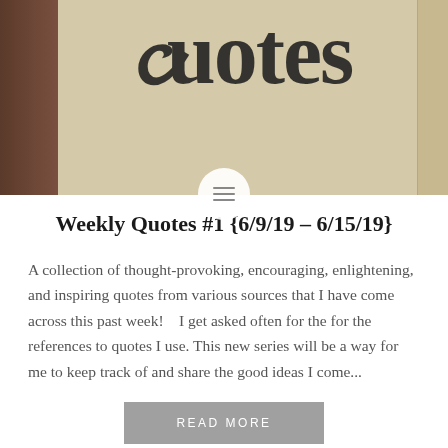[Figure (photo): Beige/tan background with cursive script text reading 'Quotes', dark wood strip on left, light strip on right, circular menu icon overlay at bottom center]
Weekly Quotes #1 {6/9/19 – 6/15/19}
A collection of thought-provoking, encouraging, enlightening, and inspiring quotes from various sources that I have come across this past week!    I get asked often for the for the references to quotes I use. This new series will be a way for me to keep track of and share the good ideas I come...
READ MORE